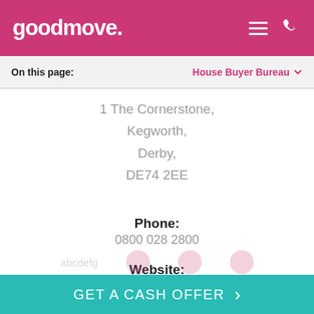goodmove.
On this page: House Buyer Bureau
1 The Cornerstone,
Kegworth,
Derby,
DE74 2EE
Phone:
0800 028 2800
Website:
www.housebuyerbureau.co.uk
GET A CASH OFFER